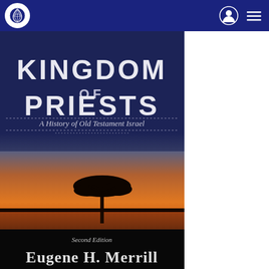Navigation bar with logo and menu icons
[Figure (photo): Book cover of 'Kingdom of Priests: A History of Old Testament Israel' by Eugene H. Merrill, Second Edition. The cover shows large white text 'KINGDOM OF PRIESTS' at the top on a dark navy background, with subtitle 'A History of Old Testament Israel' in italic script below. The lower portion shows a photographic African savanna landscape at sunset/dusk with an orange sky and a lone acacia tree silhouette. At the bottom, the author name 'Eugene H. Merrill' appears in large white serif font with 'Second Edition' above it.]